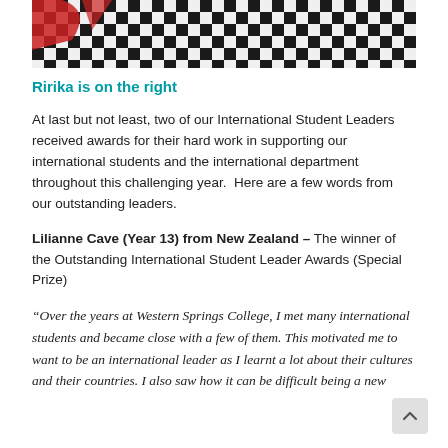[Figure (photo): Photo showing a checkered pattern (black and white squares) with a partial view of a red element, cropped at top of page. Caption states Ririka is on the right.]
Ririka is on the right
At last but not least, two of our International Student Leaders received awards for their hard work in supporting our international students and the international department throughout this challenging year.  Here are a few words from our outstanding leaders.
Lilianne Cave (Year 13) from New Zealand – The winner of the Outstanding International Student Leader Awards (Special Prize)
“Over the years at Western Springs College, I met many international students and became close with a few of them. This motivated me to want to be an international leader as I learnt a lot about their cultures and their countries. I also saw how it can be difficult being a new